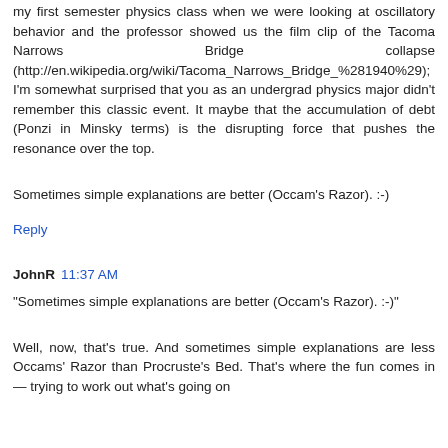my first semester physics class when we were looking at oscillatory behavior and the professor showed us the film clip of the Tacoma Narrows Bridge collapse (http://en.wikipedia.org/wiki/Tacoma_Narrows_Bridge_%281940%29); I'm somewhat surprised that you as an undergrad physics major didn't remember this classic event. It maybe that the accumulation of debt (Ponzi in Minsky terms) is the disrupting force that pushes the resonance over the top.
Sometimes simple explanations are better (Occam's Razor). :-)
Reply
JohnR 11:37 AM
"Sometimes simple explanations are better (Occam's Razor). :-)"
Well, now, that's true. And sometimes simple explanations are less Occams' Razor than Procruste's Bed. That's where the fun comes in — trying to work out what's going on